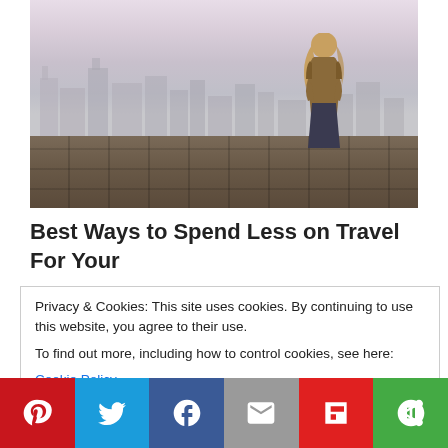[Figure (photo): Woman with long blonde hair sitting on a stone wall, viewed from behind, overlooking a hazy city skyline. Urban landscape with tall buildings visible in the soft-focus background.]
Best Ways to Spend Less on Travel For Your
Privacy & Cookies: This site uses cookies. By continuing to use this website, you agree to their use.
To find out more, including how to control cookies, see here:
Cookie Policy
Social share bar: Pinterest, Twitter, Facebook, Email, Flipboard, More